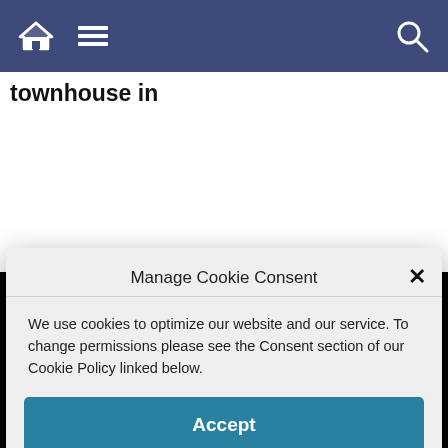townhouse in
Manage Cookie Consent
We use cookies to optimize our website and our service. To change permissions please see the Consent section of our Cookie Policy linked below.
Accept
The magazine has a searchable and cross-indexed database of over 3,300 articles and 6,000 photographs, including 550 photo galleries.
Read More...